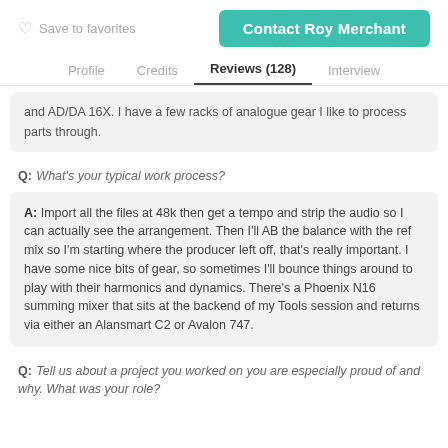Save to favorites    Contact Roy Merchant
Profile   Credits   Reviews (128)   Interview
and AD/DA 16X. I have a few racks of analogue gear I like to process parts through.
Q: What's your typical work process?
A: Import all the files at 48k then get a tempo and strip the audio so I can actually see the arrangement. Then I'll AB the balance with the ref mix so I'm starting where the producer left off, that's really important. I have some nice bits of gear, so sometimes I'll bounce things around to play with their harmonics and dynamics. There's a Phoenix N16 summing mixer that sits at the backend of my Tools session and returns via either an Alansmart C2 or Avalon 747.
Q: Tell us about a project you worked on you are especially proud of and why. What was your role?